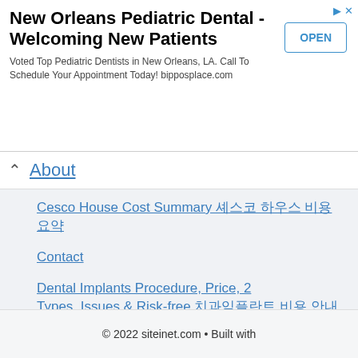[Figure (screenshot): Advertisement banner for New Orleans Pediatric Dental - Welcoming New Patients with OPEN button]
About
Cesco House Cost Summary 쎄스코 하우스 비용 요약
Contact
Dental Implants Procedure, Price, 2 Types, Issues & Risk-free 치과임플란트 비용 안내
The Economic Climate 6가지경제환경 분석
스포츠 Broadcasting of sports events
스포츠 중계 Bein Sporting Activities
© 2022 siteinet.com • Built with